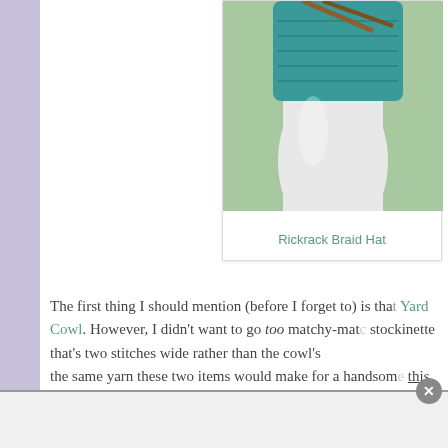[Figure (photo): Close-up photo of a teal/turquoise knitted hat on a white vase or mannequin head, with blurred green background]
Rickrack Braid Hat
The first thing I should mention (before I forget to) is that this hat uses almost the same yardage as the cowl!!!! However, I didn't want to go too matchy-matchy, so the braid in this hat is stockinette that's two stitches wide rather than the cowl's... the same yarn these two items would make for a handsome set! And this hat uses almost the same yardage as the cowl!!!!